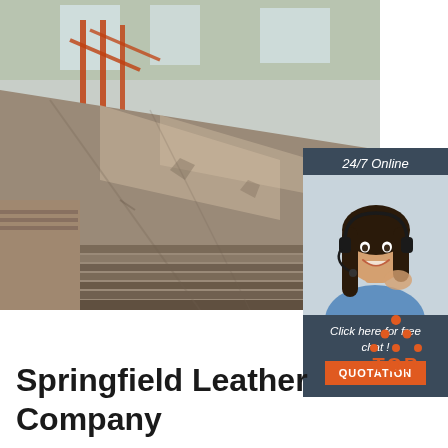[Figure (photo): Industrial steel plate sheets stacked in a warehouse or factory, with orange metal supports and large windows in the background. Perspective view showing the flat surface of steel plates.]
[Figure (infographic): Customer service chat widget overlay on the main photo. Dark blue-grey background with text '24/7 Online' in italic white, a photo of a smiling woman with headset (customer service representative), italic white text 'Click here for free chat !', and an orange button labeled 'QUOTATION'.]
[Figure (logo): TOP logo: orange triangular arrangement of dots above the word TOP in orange capital letters on white background.]
Springfield Leather Company